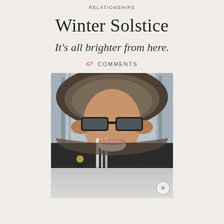RELATIONSHIPS
Winter Solstice
It's all brighter from here.
67 COMMENTS
[Figure (photo): A smiling woman wearing a fur-trimmed hood and dark sunglasses, adjusting her glasses with both hands, with snowy trees in the background.]